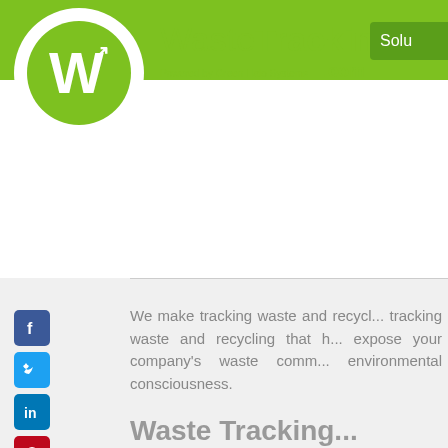[Figure (logo): WasteTracking.com logo with green circular W icon, brand name 'WasteTracking' in green, 'Powered by Green Halo Systems .com' tagline, and partial 'Solu' (Solutions) button on the right]
[Figure (infographic): Social media icons column: Facebook (blue), Twitter (blue), LinkedIn (blue), Pinterest (red), WordPress (blue)]
We make tracking waste and recycling tracking waste and recycling that expose your company's waste comm environmental consciousness.